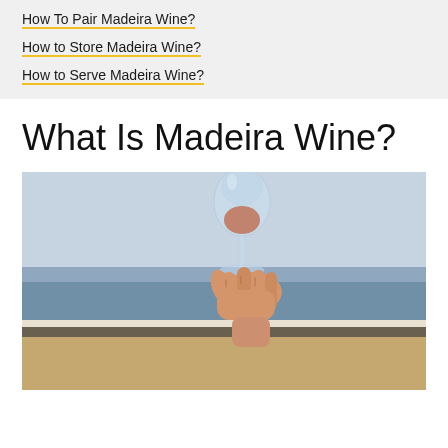How To Pair Madeira Wine?
How to Store Madeira Wine?
How to Serve Madeira Wine?
What Is Madeira Wine?
[Figure (photo): A hand holding up a clear wine glass with amber/rose-colored Madeira wine against a blurred coastal seascape background with blue sky and sea visible.]